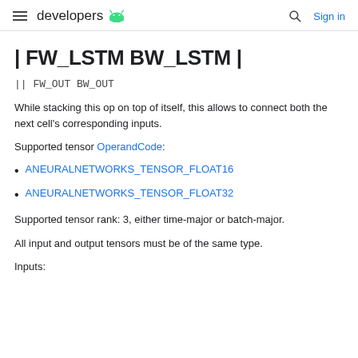developers
| FW_LSTM BW_LSTM |
|| FW_OUT BW_OUT
While stacking this op on top of itself, this allows to connect both the next cell's corresponding inputs.
Supported tensor OperandCode:
ANEURALNETWORKS_TENSOR_FLOAT16
ANEURALNETWORKS_TENSOR_FLOAT32
Supported tensor rank: 3, either time-major or batch-major.
All input and output tensors must be of the same type.
Inputs: